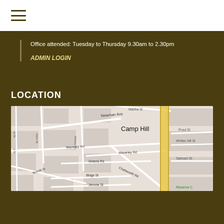Office attended: Tuesday to Thursday 9.30am to 2.30pm
ADMIN LOGIN
LOCATION
[Figure (map): Street map showing Camp Hill area with streets including Newman Ave, Waverley Rd, Chatsworth Rd, Martha St, Samuel St, Greens Rd, Norfolk St, Illidge St, Jerome St, Kent St, Kelsey St, Prout St, and Reserve. A yellow highlighted road (Chatsworth Rd) runs vertically through the map.]